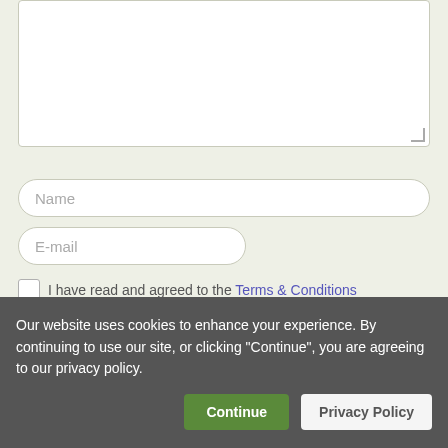[Figure (screenshot): A web form textarea (empty, white background) with a resizable handle at the bottom right, sitting on a light olive/gray background area.]
Name
E-mail
I have read and agreed to the Terms & Conditions
Submit Your Comment
Our website uses cookies to enhance your experience. By continuing to use our site, or clicking "Continue", you are agreeing to our privacy policy.
Continue
Privacy Policy